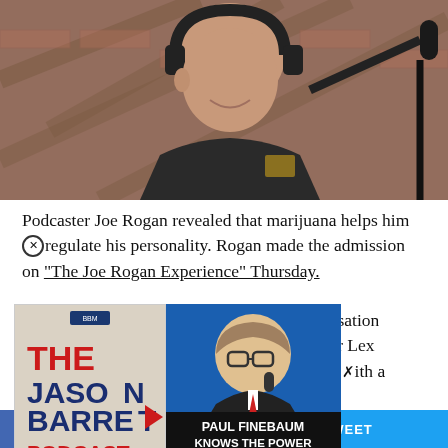[Figure (photo): Podcaster Joe Rogan wearing headphones, leaning toward a microphone in a studio with brick wall background]
Podcaster Joe Rogan revealed that marijuana helps him regulate his personality. Rogan made the admission on “The Joe Rogan Experience” Thursday.
[Figure (other): The Jason Barrett Podcast logo overlaid on article]
[Figure (other): Paul Finebaum knows the power of the listeners - thumbnail overlay]
...ate details a conversation ...entist and podcaster Lex ...about drugs started with a talk about the Johnny Depp defamation trial.
SHARE   TWEET